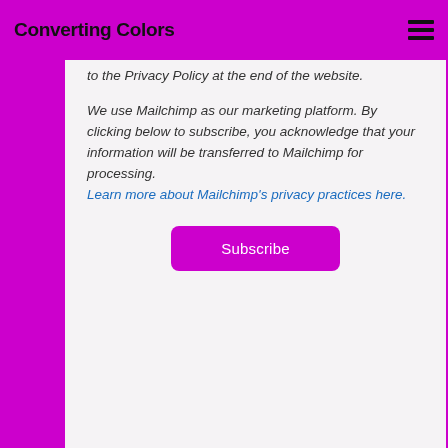Converting Colors
to the Privacy Policy at the end of the website.

We use Mailchimp as our marketing platform. By clicking below to subscribe, you acknowledge that your information will be transferred to Mailchimp for processing. Learn more about Mailchimp's privacy practices here.
Subscribe